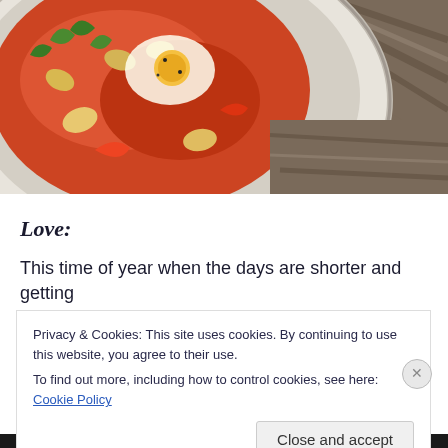[Figure (photo): Close-up photo of a white bowl/plate with tomato-based dish (shakshuka or similar), showing beans, egg, herbs, and tomato sauce, placed on a wooden surface. Upper right corner shows the wooden table.]
Love:
This time of year when the days are shorter and getting
Privacy & Cookies: This site uses cookies. By continuing to use this website, you agree to their use.
To find out more, including how to control cookies, see here: Cookie Policy
Close and accept